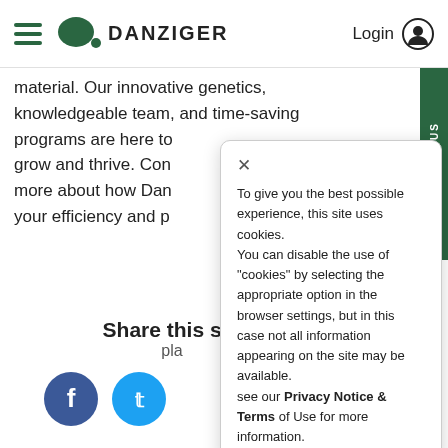DANZIGER | Login
material. Our innovative genetics, knowledgeable team, and time-saving programs are here to grow and thrive. Con more about how Dan your efficiency and p
Share this sto pla
[Figure (screenshot): Facebook and Twitter social share icons]
To give you the best possible experience, this site uses cookies. You can disable the use of "cookies" by selecting the appropriate option in the browser settings, but in this case not all information appearing on the site may be available. see our Privacy Notice & Terms of Use for more information.